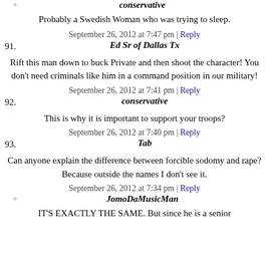conservative
Probably a Swedish Woman who was trying to sleep.
September 26, 2012 at 7:47 pm | Reply
91. Ed Sr of Dallas Tx
Rift this man down to buck Private and then shoot the character! You don't need criminals like him in a command position in our military!
September 26, 2012 at 7:41 pm | Reply
92. conservative
This is why it is important to support your troops?
September 26, 2012 at 7:40 pm | Reply
93. Tab
Can anyone explain the difference between forcible sodomy and rape? Because outside the names I don't see it.
September 26, 2012 at 7:34 pm | Reply
JomoDaMusicMan
IT'S EXACTLY THE SAME. But since he is a senior